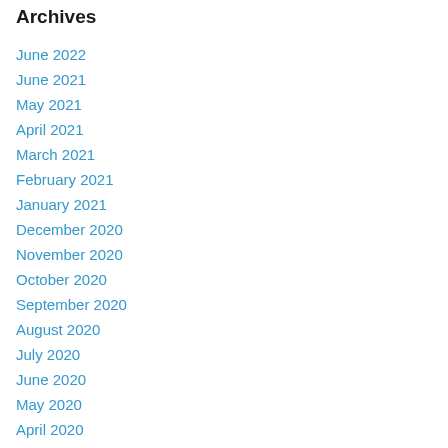Archives
June 2022
June 2021
May 2021
April 2021
March 2021
February 2021
January 2021
December 2020
November 2020
October 2020
September 2020
August 2020
July 2020
June 2020
May 2020
April 2020
March 2020
February 2020
January 2020